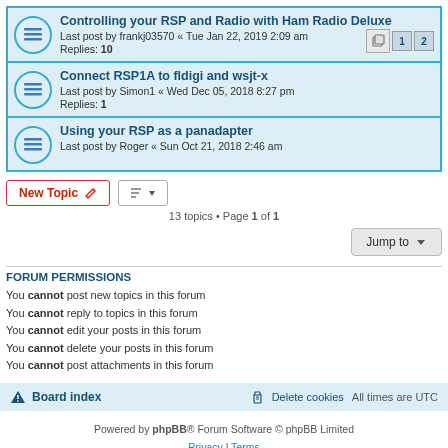Controlling your RSP and Radio with Ham Radio Deluxe — Last post by frankj03570 « Tue Jan 22, 2019 2:09 am — Replies: 10
Connect RSP1A to fldigi and wsjt-x — Last post by Simon1 « Wed Dec 05, 2018 8:27 pm — Replies: 1
Using your RSP as a panadapter — Last post by Roger « Sun Oct 21, 2018 2:46 am
13 topics • Page 1 of 1
Jump to
FORUM PERMISSIONS
You cannot post new topics in this forum
You cannot reply to topics in this forum
You cannot edit your posts in this forum
You cannot delete your posts in this forum
You cannot post attachments in this forum
Board index | Delete cookies | All times are UTC
Powered by phpBB® Forum Software © phpBB Limited
Privacy | Terms